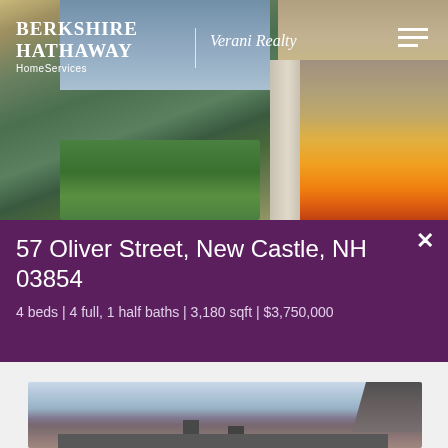[Figure (photo): Hero image showing a luxury home outdoor patio area with green landscaping and a stone fireplace with flames, with the Berkshire Hathaway HomeServices | Verani Realty logo overlay]
57 Oliver Street, New Castle, NH 03854
4 beds | 4 full, 1 half baths | 3,180 sqft | $3,750,000
[Figure (photo): Exterior photo of a house in winter with bare trees against a light blue sky, chimneys visible]